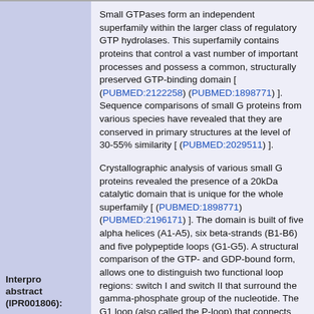Small GTPases form an independent superfamily within the larger class of regulatory GTP hydrolases. This superfamily contains proteins that control a vast number of important processes and possess a common, structurally preserved GTP-binding domain [ (PUBMED:2122258) (PUBMED:1898771) ]. Sequence comparisons of small G proteins from various species have revealed that they are conserved in primary structures at the level of 30-55% similarity [ (PUBMED:2029511) ].
Crystallographic analysis of various small G proteins revealed the presence of a 20kDa catalytic domain that is unique for the whole superfamily [ (PUBMED:1898771) (PUBMED:2196171) ]. The domain is built of five alpha helices (A1-A5), six beta-strands (B1-B6) and five polypeptide loops (G1-G5). A structural comparison of the GTP- and GDP-bound form, allows one to distinguish two functional loop regions: switch I and switch II that surround the gamma-phosphate group of the nucleotide. The G1 loop (also called the P-loop) that connects the B1 strand and the A1 helix is responsible for the binding of the phosphate groups. The G3 loop provides residues for Mg(2+) and phosphate binding and is located at the N terminus of the A2 helix. The G1 and G3 loops are sequentially similar to Walker A and Walker B boxes that are found in other nucleotide binding motifs. The G2 loop connects the A1 helix and the B2 strand and contains a conserved Thr residue responsible for Mg(2+) binding. The guanine base is recognised by the G4 and G5 loops. The consensus sequence NKXD of the G4 loop contains Lys and Asp residues directly interacting with the nucleotide.
Interpro abstract (IPR001806):